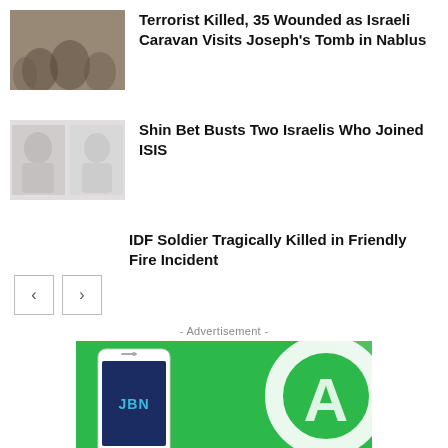Terrorist Killed, 35 Wounded as Israeli Caravan Visits Joseph's Tomb in Nablus
[Figure (photo): Group of people, possibly soldiers or crowd scene]
Shin Bet Busts Two Israelis Who Joined ISIS
[Figure (photo): Two individuals, faded/mug-shot style photo]
IDF Soldier Tragically Killed in Friendly Fire Incident
- Advertisement -
[Figure (photo): Advertisement banner showing smartphone with JBN app on green background with WhatsApp-style logo]